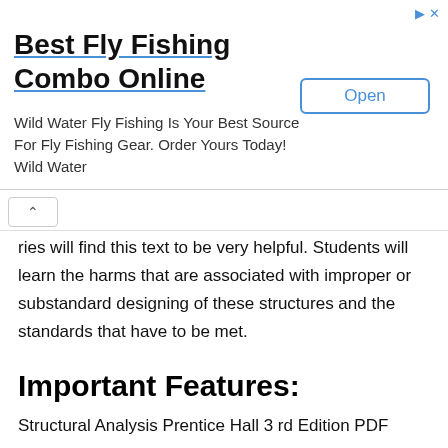[Figure (other): Advertisement banner for 'Best Fly Fishing Combo Online' - Wild Water Fly Fishing with an Open button]
ries will find this text to be very helpful. Students will learn the harms that are associated with improper or substandard designing of these structures and the standards that have to be met.
Important Features:
Structural Analysis Prentice Hall 3 rd Edition PDF covers the designing aspects of API equipment, guiding the reader about harms involved and the necessary precautions that need to be taken.